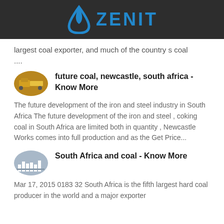ZENIT
largest coal exporter, and much of the country s coal
....
future coal, newcastle, south africa - Know More
The future development of the iron and steel industry in South Africa The future development of the iron and steel , coking coal in South Africa are limited both in quantity , Newcastle Works comes into full production and as the Get Price...
South Africa and coal - Know More
Mar 17, 2015 0183 32 South Africa is the fifth largest hard coal producer in the world and a major exporter